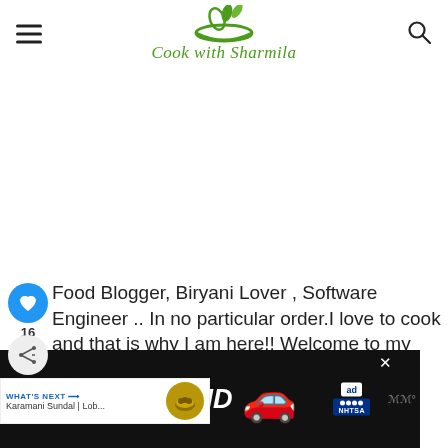Cook with Sharmila
Food Blogger, Biryani Lover , Software Engineer .. In no particular order.I love to cook and that is why I am here!! Welcome to my space!!. Read more about me!
[Figure (screenshot): What's Next widget with Karamani Sundal | Lob... thumbnail]
[Figure (photo): DON'T TEXT AND drive advertisement banner with red car and NHTSA logo]